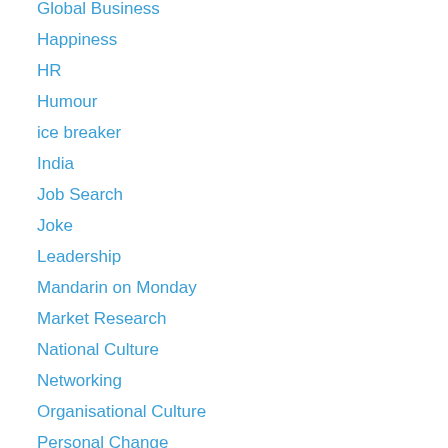Global Business
Happiness
HR
Humour
ice breaker
India
Job Search
Joke
Leadership
Mandarin on Monday
Market Research
National Culture
Networking
Organisational Culture
Personal Change
Play Based Discovery
poem
PR/ Media
productive Wed